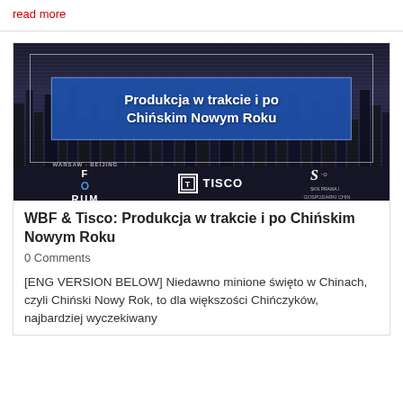read more
[Figure (photo): Banner image with dark city skyline background and blue stripe with bold white Polish text: 'Produkcja w trakcie i po Chińskim Nowym Roku'. Bottom bar has logos: Warsaw-Beijing Forum, TISCO, SKN Prawa i Gospodarki Chin.]
WBF & Tisco: Produkcja w trakcie i po Chińskim Nowym Roku
0 Comments
[ENG VERSION BELOW] Niedawno minione święto w Chinach, czyli Chiński Nowy Rok, to dla większości Chińczyków, najbardziej wyczekiwany